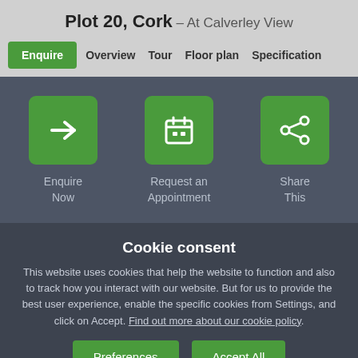Plot 20, Cork – At Calverley View
Enquire | Overview | Tour | Floor plan | Specification
[Figure (screenshot): Three green icon buttons: arrow (Enquire Now), calendar (Request an Appointment), share (Share This) on dark gray background]
Cookie consent
This website uses cookies that help the website to function and also to track how you interact with our website. But for us to provide the best user experience, enable the specific cookies from Settings, and click on Accept. Find out more about our cookie policy.
Preferences
Accept All